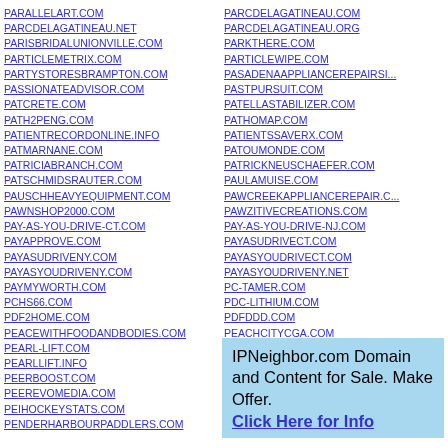PARALLELART.COM
PARCDELAGATINEAU.NET
PARISBRIDALUNIONVILLE.COM
PARTICLEMETRIX.COM
PARTYSTORESBRAMPTON.COM
PASSIONATEADVISOR.COM
PATCRETE.COM
PATH2PENG.COM
PATIENTRECORDONLINE.INFO
PATMARNANE.COM
PATRICIABRANCH.COM
PATSCHMIDSRAUTER.COM
PAUSCHHEAVYEQUIPMENT.COM
PAWNSHOP2000.COM
PAY-AS-YOU-DRIVE-CT.COM
PAYAPPROVE.COM
PAYASUDRIVENY.COM
PAYASYOUDRIVENY.COM
PAYMYWORTH.COM
PCHS66.COM
PDF2HOME.COM
PEACEWITHFOODANDBODIES.COM
PEARL-LIFT.COM
PEARLLIFT.INFO
PEERBOOST.COM
PEEREVOMEDIA.COM
PEIHOCKEYSTATS.COM
PENDERHARBOURPADDLERS.COM
PARCDELAGATINEAU.COM
PARCDELAGATINEAU.ORG
PARKTHERE.COM
PARTICLEWIPE.COM
PASADENAAPPLIANCEREPAIRSERVICE.COM
PASTPURSUIT.COM
PATELLASTABILIZER.COM
PATHOMAP.COM
PATIENTSSAVERX.COM
PATOUMONDE.COM
PATRICKNEUSCHAEFER.COM
PAULAMUISE.COM
PAWCREEKAPPLIANCEREPAIR.COM
PAWZITIVECREATIONS.COM
PAY-AS-YOU-DRIVE-NJ.COM
PAYASUDRIVECT.COM
PAYASYOUDRIVECT.COM
PAYASYOUDRIVENY.NET
PC-TAMER.COM
PDC-LITHIUM.COM
PDFDDD.COM
PEACHCITYCGA.COM
PEARL-LIFT.INFO
PECKLAWNNYC.COM
IPNeighbor.com Domain and Content for Sale. Make Offer. Click Here for Info